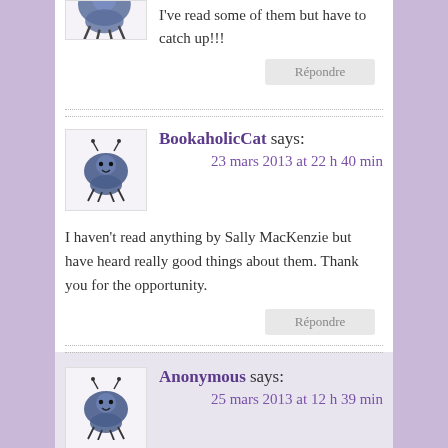I've read some of them but have to catch up!!!
Répondre
BookaholicCat says:
23 mars 2013 at 22 h 40 min
I haven't read anything by Sally MacKenzie but have heard really good things about them. Thank you for the opportunity.
Répondre
Anonymous says:
25 mars 2013 at 12 h 39 min